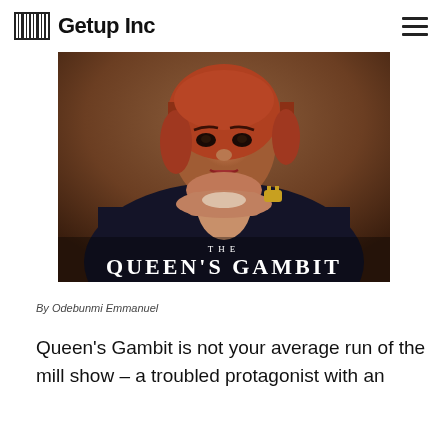Getup Inc
[Figure (photo): Promotional image for The Queen's Gambit Netflix series showing a young woman with auburn hair in a dark outfit, with 'THE QUEEN'S GAMBIT' title text overlaid at the bottom]
By Odebunmi Emmanuel
Queen's Gambit is not your average run of the mill show – a troubled protagonist with an outstanding background story and a set